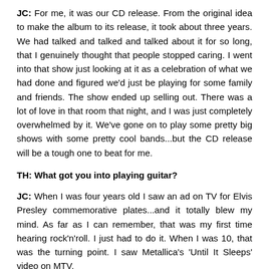JC: For me, it was our CD release. From the original idea to make the album to its release, it took about three years. We had talked and talked and talked about it for so long, that I genuinely thought that people stopped caring. I went into that show just looking at it as a celebration of what we had done and figured we'd just be playing for some family and friends. The show ended up selling out. There was a lot of love in that room that night, and I was just completely overwhelmed by it. We've gone on to play some pretty big shows with some pretty cool bands...but the CD release will be a tough one to beat for me.
TH: What got you into playing guitar?
JC: When I was four years old I saw an ad on TV for Elvis Presley commemorative plates...and it totally blew my mind. As far as I can remember, that was my first time hearing rock'n'roll. I just had to do it. When I was 10, that was the turning point. I saw Metallica's 'Until It Sleeps' video on MTV,